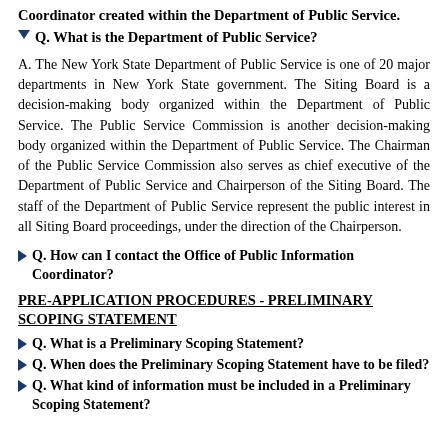Coordinator created within the Department of Public Service.
Q. What is the Department of Public Service?
A. The New York State Department of Public Service is one of 20 major departments in New York State government. The Siting Board is a decision-making body organized within the Department of Public Service. The Public Service Commission is another decision-making body organized within the Department of Public Service. The Chairman of the Public Service Commission also serves as chief executive of the Department of Public Service and Chairperson of the Siting Board. The staff of the Department of Public Service represent the public interest in all Siting Board proceedings, under the direction of the Chairperson.
Q. How can I contact the Office of Public Information Coordinator?
PRE-APPLICATION PROCEDURES - PRELIMINARY SCOPING STATEMENT
Q. What is a Preliminary Scoping Statement?
Q. When does the Preliminary Scoping Statement have to be filed?
Q. What kind of information must be included in a Preliminary Scoping Statement?